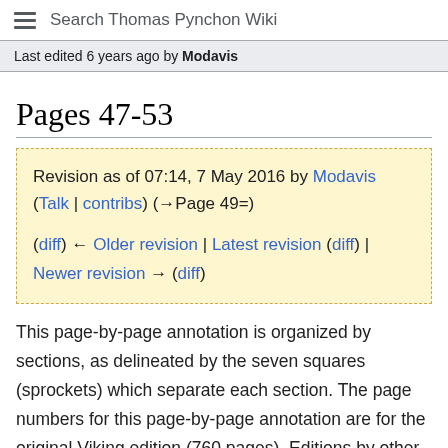Search Thomas Pynchon Wiki
Last edited 6 years ago by Modavis
Pages 47-53
Revision as of 07:14, 7 May 2016 by Modavis (Talk | contribs) (→Page 49=)
(diff) ← Older revision | Latest revision (diff) | Newer revision → (diff)
This page-by-page annotation is organized by sections, as delineated by the seven squares (sprockets) which separate each section. The page numbers for this page-by-page annotation are for the original Viking edition (760 pages). Editions by other publishers vary in pagination —